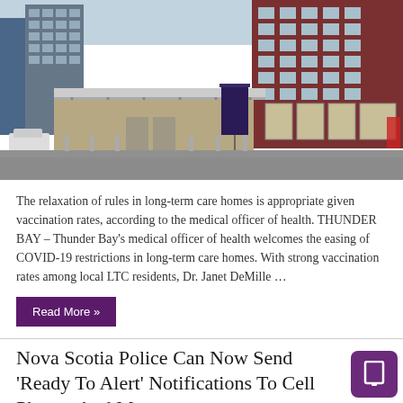[Figure (photo): Exterior photo of a hospital building with red brick multi-story tower, canopy entrance, beige lower building, and parking area in overcast weather. Thunder Bay Regional Health Sciences Centre.]
The relaxation of rules in long-term care homes is appropriate given vaccination rates, according to the medical officer of health. THUNDER BAY – Thunder Bay's medical officer of health welcomes the easing of COVID-19 restrictions in long-term care homes. With strong vaccination rates among local LTC residents, Dr. Janet DeMille …
Read More »
Nova Scotia Police Can Now Send 'Ready To Alert' Notifications To Cell Phones And More